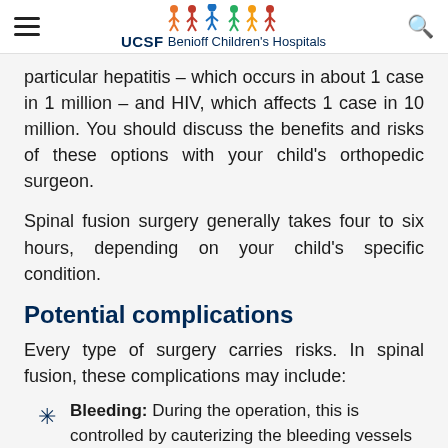UCSF Benioff Children's Hospitals
particular hepatitis – which occurs in about 1 case in 1 million – and HIV, which affects 1 case in 10 million. You should discuss the benefits and risks of these options with your child's orthopedic surgeon.
Spinal fusion surgery generally takes four to six hours, depending on your child's specific condition.
Potential complications
Every type of surgery carries risks. In spinal fusion, these complications may include:
Bleeding: During the operation, this is controlled by cauterizing the bleeding vessels (applying heat with a surgical tool) and by using a device that allows the return of lost blood to your child during the operation, so the